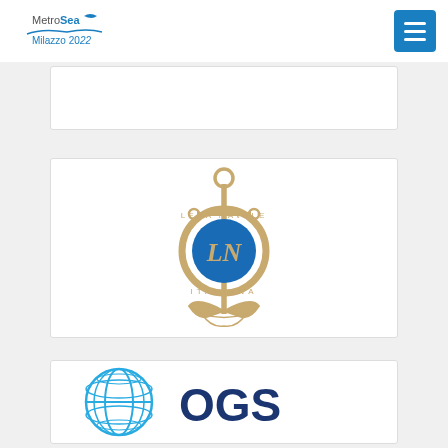[Figure (logo): MetroSea Milazzo 2022 logo with wave and fish design in blue]
[Figure (logo): Navigation menu button (hamburger icon) in blue square]
[Figure (logo): Partial logo card - top portion cut off]
[Figure (logo): Lega Navale Italiana logo - anchor emblem in gold with blue circle containing LNI monogram]
[Figure (logo): OGS logo - blue globe icon with OGS text in dark navy blue]